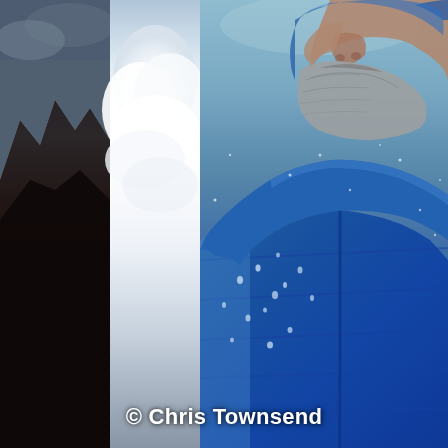[Figure (photo): Composite photo with three vertical panels: left panel shows a dark mountain or rocky terrain with dramatic sky, middle panel shows white clouds against a pale sky, right panel shows a close-up of a bearded man wearing a blue insulated jacket (puffer/down jacket) with snow and water droplets on it, photographed in cold/snowy conditions. The man's face is partially visible showing beard and part of nose.]
© Chris Townsend